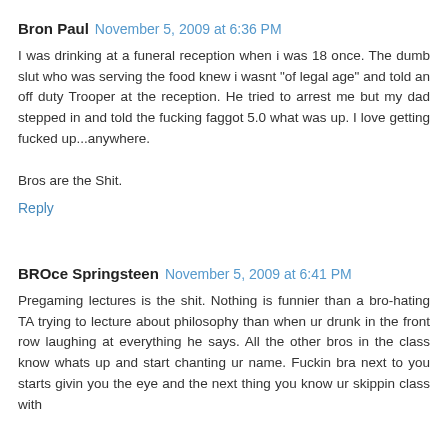Bron Paul  November 5, 2009 at 6:36 PM
I was drinking at a funeral reception when i was 18 once. The dumb slut who was serving the food knew i wasnt "of legal age" and told an off duty Trooper at the reception. He tried to arrest me but my dad stepped in and told the fucking faggot 5.0 what was up. I love getting fucked up...anywhere.

Bros are the Shit.
Reply
BROce Springsteen  November 5, 2009 at 6:41 PM
Pregaming lectures is the shit. Nothing is funnier than a bro-hating TA trying to lecture about philosophy than when ur drunk in the front row laughing at everything he says. All the other bros in the class know whats up and start chanting ur name. Fuckin bra next to you starts givin you the eye and the next thing you know ur skippin class with